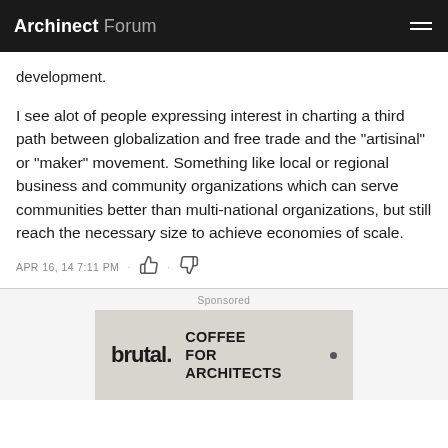Archinect Forum
development.
I see alot of people expressing interest in charting a third path between globalization and free trade and the "artisinal" or "maker" movement. Something like local or regional business and community organizations which can serve communities better than multi-national organizations, but still reach the necessary size to achieve economies of scale.
APR 16, 14 7:11 PM
[Figure (infographic): Sponsored advertisement for 'brutal. COFFEE FOR ARCHITECTS' brand, showing bold typography on a textured concrete-like background.]